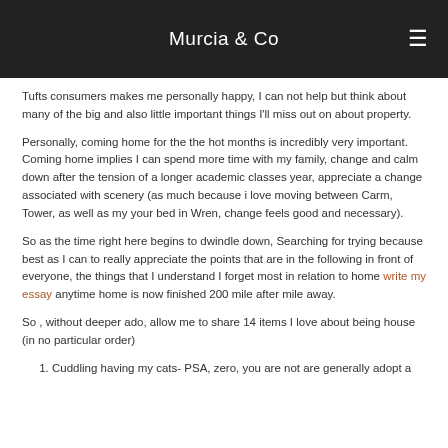Murcia & Co
Tufts consumers makes me personally happy, I can not help but think about many of the big and also little important things I'll miss out on about property.
Personally, coming home for the the hot months is incredibly very important. Coming home implies I can spend more time with my family, change and calm down after the tension of a longer academic classes year, appreciate a change associated with scenery (as much because i love moving between Carm, Tower, as well as my your bed in Wren, change feels good and necessary).
So as the time right here begins to dwindle down, Searching for trying because best as I can to really appreciate the points that are in the following in front of everyone, the things that I understand I forget most in relation to home write my essay anytime home is now finished 200 mile after mile away.
So , without deeper ado, allow me to share 14 items I love about being house (in no particular order)
1.  Cuddling having my cats- PSA, zero, you are not are generally adopt a